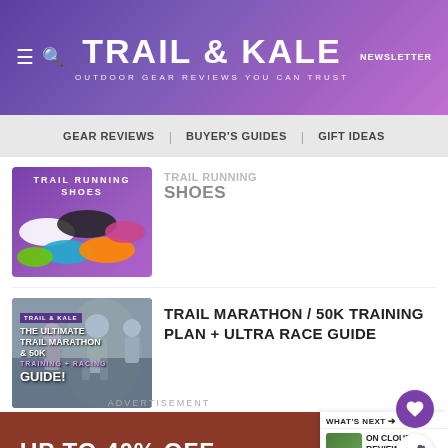TRAIL & KALE | OUTDOOR GEAR REVIEWS YOU CAN TRUST | NEWSLETTER
GEAR REVIEWS | BUYER'S GUIDES | GIFT IDEAS
[Figure (photo): Purple promotional image showing multiple trail running shoes with text SHOES]
TRAIL RUNNING SHOES
[Figure (photo): Trail Marathon 50K Training Plan and Ultra Race Guide promotional image with runners]
TRAIL MARATHON / 50K TRAINING PLAN + ULTRA RACE GUIDE
ADVERTISEMENT
[Figure (infographic): Advertisement banner with text UP TO 40% OFF on dark red background]
WHAT'S NEXT → ON CLOUD REVIEW 202...